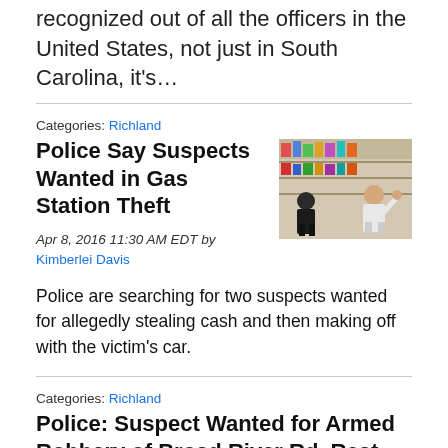recognized out of all the officers in the United States, not just in South Carolina, it's…
Categories: Richland
Police Say Suspects Wanted in Gas Station Theft
[Figure (photo): Two suspects in a store aisle, surveillance-style image]
Apr 8, 2016 11:30 AM EDT by Kimberlei Davis
Police are searching for two suspects wanted for allegedly stealing cash and then making off with the victim's car.
Categories: Richland
Police: Suspect Wanted for Armed Robbery of Broad River Rd. Restaurant